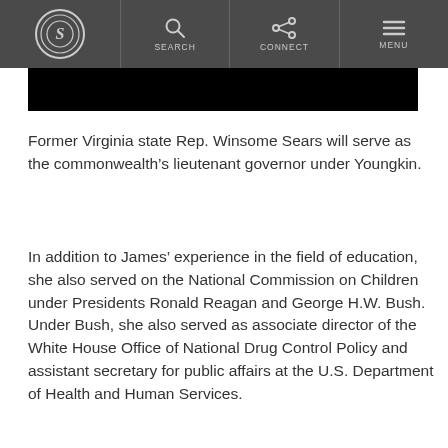S [logo] | SEARCH | CONNECT | MENU
[Figure (photo): Black image strip/banner at top of article]
Former Virginia state Rep. Winsome Sears will serve as the commonwealth's lieutenant governor under Youngkin.
In addition to James’ experience in the field of education, she also served on the National Commission on Children under Presidents Ronald Reagan and George H.W. Bush. Under Bush, she also served as associate director of the White House Office of National Drug Control Policy and assistant secretary for public affairs at the U.S. Department of Health and Human Services.